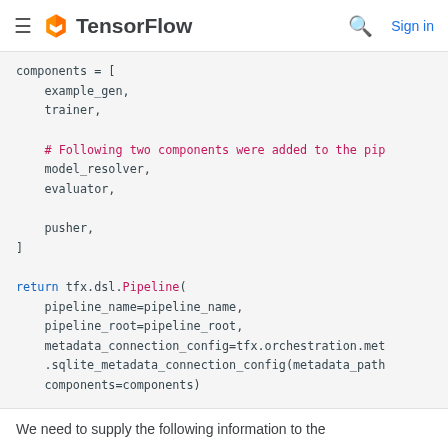TensorFlow  Sign in
[Figure (screenshot): Code snippet showing Python code with components list and return tfx.dsl.Pipeline call, displayed in a monospace code block with syntax highlighting on a light gray background. Keywords 'return' and 'Pipeline' are in blue/pink, comments in pink/magenta.]
We need to supply the following information to the